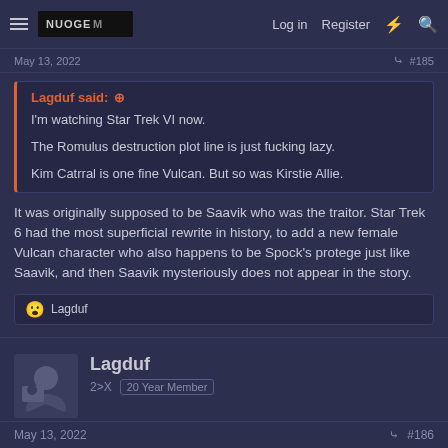Log in  Register
May 13, 2022  #185
Lagduf said: ↑
I'm watching Star Trek VI now.
The Romulus destruction plot line is just fucking lazy.
Kim Catrral is one fine Vulcan. But so was Kirstie Allie.
It was originally supposed to be Saavik who was the traitor. Star Trek 6 had the most superficial rewrite in history, to add a new female Vulcan character who also happens to be Spock's protege just like Saavik, and then Saavik mysteriously does not appear in the story.
😮 Lagduf
Lagduf
2>X  20 Year Member
May 13, 2022  #186